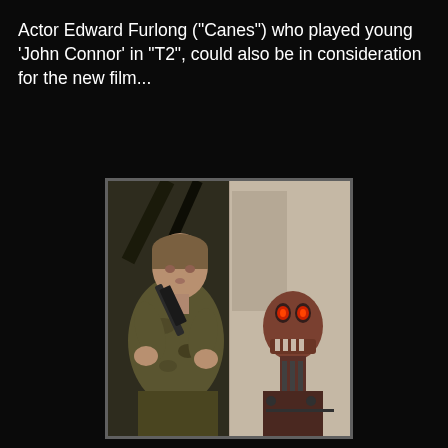Actor Edward Furlong ("Canes") who played young 'John Connor' in "T2", could also be in consideration for the new film...
[Figure (illustration): Comic book style illustration showing a battle-worn man holding a weapon on the left, and a mechanical skull-faced Terminator robot on the right against a post-apocalyptic background with numbers '25' and 'EVE' visible.]